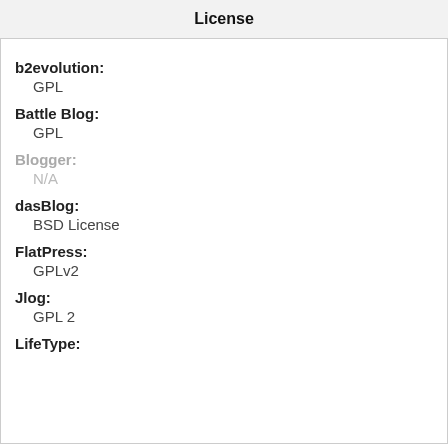License
b2evolution:
GPL
Battle Blog:
GPL
Blogger:
N/A
dasBlog:
BSD License
FlatPress:
GPLv2
Jlog:
GPL 2
LifeType: